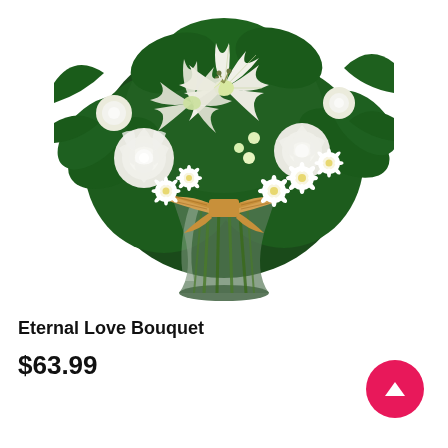[Figure (photo): A bouquet of white roses, white lilies, and small white daisies arranged in a clear glass vase tied with a burlap/jute bow. The flowers include white roses, white oriental lilies with pale green centers, small white aster-like daisy flowers, and dark green foliage. The stems are visible through the glass vase.]
Eternal Love Bouquet
$63.99